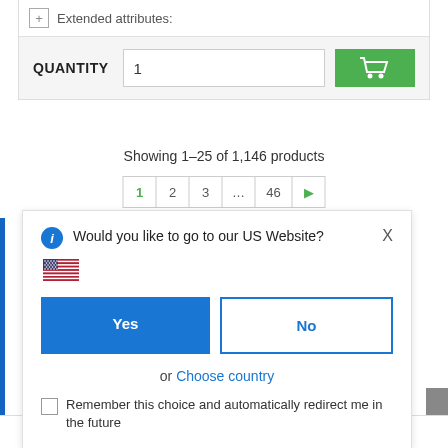+ Extended attributes:
QUANTITY  1  [cart button]
Showing 1–25 of 1,146 products
1  2  3  46  ▶
Would you like to go to our US Website?
Yes
No
or Choose country
Remember this choice and automatically redirect me in the future
Calculators & Charts